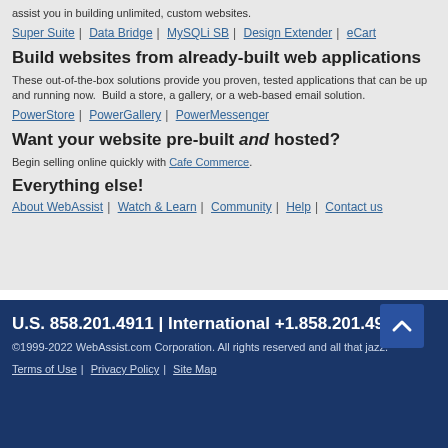assist you in building unlimited, custom websites.
Super Suite | Data Bridge | MySQLi SB | Design Extender | eCart
Build websites from already-built web applications
These out-of-the-box solutions provide you proven, tested applications that can be up and running now.  Build a store, a gallery, or a web-based email solution.
PowerStore | PowerGallery | PowerMessenger
Want your website pre-built and hosted?
Begin selling online quickly with Cafe Commerce.
Everything else!
About WebAssist | Watch & Learn | Community | Help | Contact us
U.S. 858.201.4911 | International +1.858.201.4911
©1999-2022 WebAssist.com Corporation. All rights reserved and all that jazz.
Terms of Use | Privacy Policy | Site Map